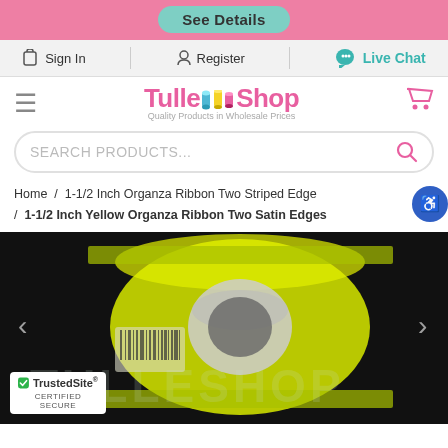See Details
Sign In | Register | Live Chat
[Figure (logo): TulleShop logo with colorful spool icons and tagline 'Quality Products in Wholesale Prices']
SEARCH PRODUCTS...
Home / 1-1/2 Inch Organza Ribbon Two Striped Edge / 1-1/2 Inch Yellow Organza Ribbon Two Satin Edges
[Figure (photo): A roll of yellow organza ribbon with two satin edges on a dark background, with TULLESHOP watermark]